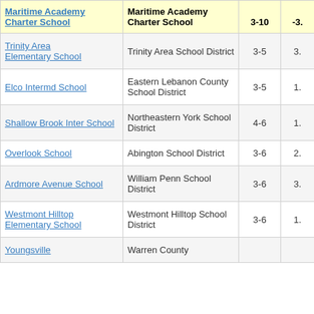| Maritime Academy Charter School | Maritime Academy Charter School | 3-10 | -3. |
| --- | --- | --- | --- |
| Trinity Area Elementary School | Trinity Area School District | 3-5 | 3. |
| Elco Intermd School | Eastern Lebanon County School District | 3-5 | 1. |
| Shallow Brook Inter School | Northeastern York School District | 4-6 | 1. |
| Overlook School | Abington School District | 3-6 | 2. |
| Ardmore Avenue School | William Penn School District | 3-6 | 3. |
| Westmont Hilltop Elementary School | Westmont Hilltop School District | 3-6 | 1. |
| Youngsville | Warren County |  |  |